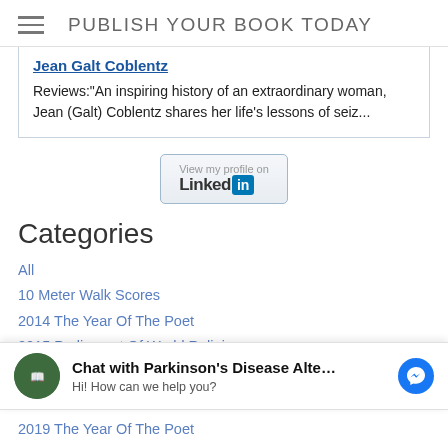PUBLISH YOUR BOOK TODAY
Jean Galt Coblentz
Reviews:"An inspiring history of an extraordinary woman, Jean (Galt) Coblentz shares her life's lessons of seiz...
[Figure (screenshot): LinkedIn 'View my profile on' button/badge]
Categories
All
10 Meter Walk Scores
2014 The Year Of The Poet
2015 Parliament Of World Religions
2016 The Year Of The Poet
[Figure (screenshot): Chat widget: Chat with Parkinson's Disease Alte... Hi! How can we help you?]
2019 The Year Of The Poet